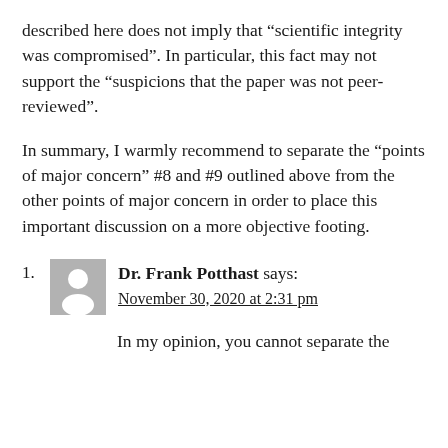described here does not imply that “scientific integrity was compromised”. In particular, this fact may not support the “suspicions that the paper was not peer-reviewed”.
In summary, I warmly recommend to separate the “points of major concern” #8 and #9 outlined above from the other points of major concern in order to place this important discussion on a more objective footing.
[Figure (illustration): Generic user avatar icon — grey square with white silhouette of a person]
Dr. Frank Potthast says:
November 30, 2020 at 2:31 pm
In my opinion, you cannot separate the